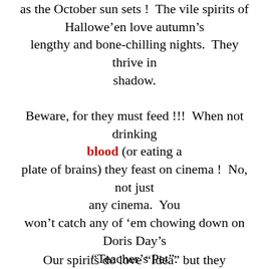as the October sun sets !  The vile spirits of Hallowe'en love autumn's lengthy and bone-chilling nights.  They thrive in shadow.
Beware, for they must feed !!!  When not drinking blood (or eating a plate of brains) they feast on cinema !  No, not just any cinema.  You won't catch any of 'em chowing down on Doris Day's “Teacher’s Pet”. Stephen King’s “Pet Sematary” is more their style !!!
Our spirits do love “Idea” but they...